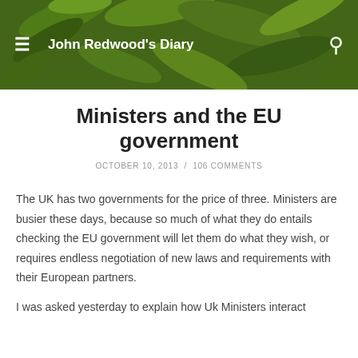John Redwood's Diary
Ministers and the EU government
OCTOBER 10, 2013 / 106 COMMENTS
The UK has two governments for the price of three. Ministers are busier these days, because so much of what they do entails checking the EU government will let them do what they wish, or requires endless negotiation of new laws and requirements with their European partners.
I was asked yesterday to explain how Uk Ministers interact